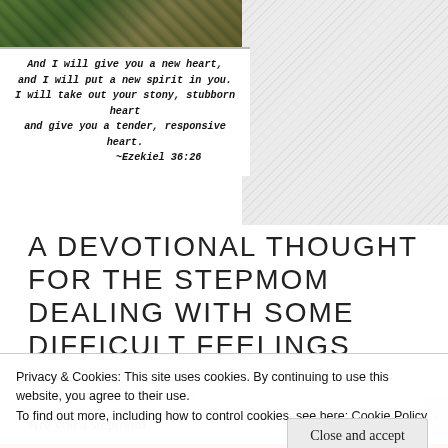[Figure (photo): Nature/foliage photo banner at top left]
And I will give you a new heart, and I will put a new spirit in you. I will take out your stony, stubborn heart and give you a tender, responsive heart. ~Ezekiel 36:26
A DEVOTIONAL THOUGHT FOR THE STEPMOM DEALING WITH SOME DIFFICULT FEELINGS
November 2, 2016   4 Comments
Are you a stepmom
[Figure (photo): Green foliage/trees photo on the right]
Privacy & Cookies: This site uses cookies. By continuing to use this website, you agree to their use.
To find out more, including how to control cookies, see here: Cookie Policy
Close and accept